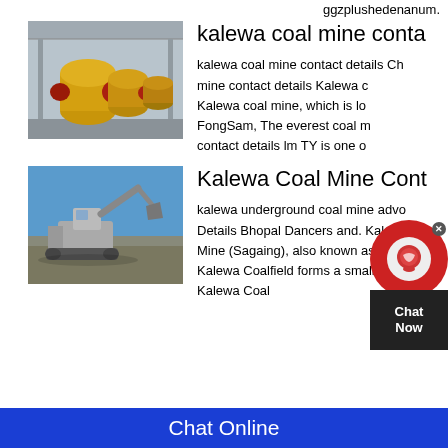ggzplushedenanum.
kalewa coal mine conta...
[Figure (photo): Yellow industrial ball mills in a factory warehouse]
kalewa coal mine contact details Ch... mine contact details Kalewa c... Kalewa coal mine, which is lo... a FongSam, The everest coal m... contact details lm TY is one o...
Kalewa Coal Mine Cont...
[Figure (photo): Heavy mining machinery/excavator at an open pit mine under blue sky]
kalewa underground coal mine advo... Details Bhopal Dancers and. Kalew... Mine (Sagaing), also known as Palu... Kalewa Coalfield forms a small par... Kalewa Coal
Chat Online